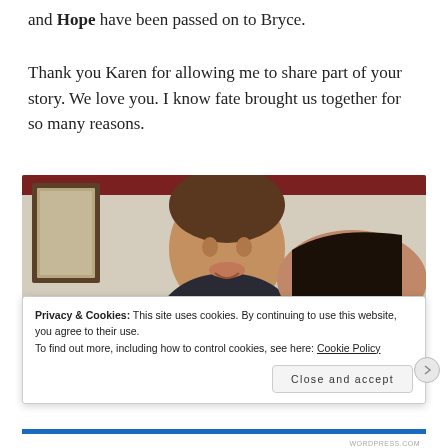and Hope have been passed on to Bryce.
Thank you Karen for allowing me to share part of your story. We love you. I know fate brought us together for so many reasons.
[Figure (photo): A young boy smiling with a woman (partially visible), taken indoors. A framed mirror is visible on the wall behind them, and a dark red ceiling trim above.]
Privacy & Cookies: This site uses cookies. By continuing to use this website, you agree to their use.
To find out more, including how to control cookies, see here: Cookie Policy
Close and accept
WORDPRESS.COM